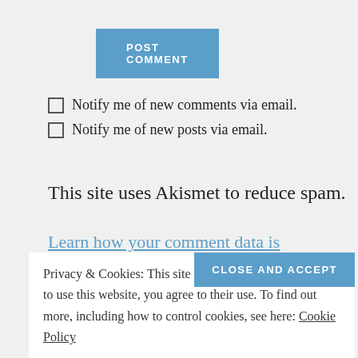POST COMMENT
☐ Notify me of new comments via email.
☐ Notify me of new posts via email.
This site uses Akismet to reduce spam.
Learn how your comment data is
Privacy & Cookies: This site uses cookies. By continuing to use this website, you agree to their use. To find out more, including how to control cookies, see here: Cookie Policy
CLOSE AND ACCEPT
Home Page